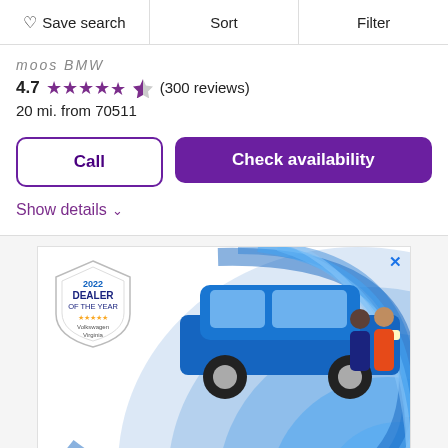Save search | Sort | Filter
4.7 ★★★★½ (300 reviews)
20 mi. from 70511
Call | Check availability
Show details ∨
[Figure (photo): Advertisement banner for Volkswagen dealer: 2022 Dealer of the Year badge, blue SUV with people, blue swirl background, 'Trade-In' text at bottom]